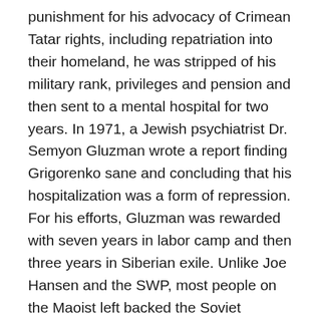punishment for his advocacy of Crimean Tatar rights, including repatriation into their homeland, he was stripped of his military rank, privileges and pension and then sent to a mental hospital for two years. In 1971, a Jewish psychiatrist Dr. Semyon Gluzman wrote a report finding Grigorenko sane and concluding that his hospitalization was a form of repression. For his efforts, Gluzman was rewarded with seven years in labor camp and then three years in Siberian exile. Unlike Joe Hansen and the SWP, most people on the Maoist left backed the Soviet bureaucrats for the same sorts of reasons so many “anti-imperialists” are backing Putin today. If imperialism was applauding Grigorenko’s efforts, that was reason enough to jail him in a mental hospital and to make any psychiatrist pay dearly for a report that deemed the General sane.